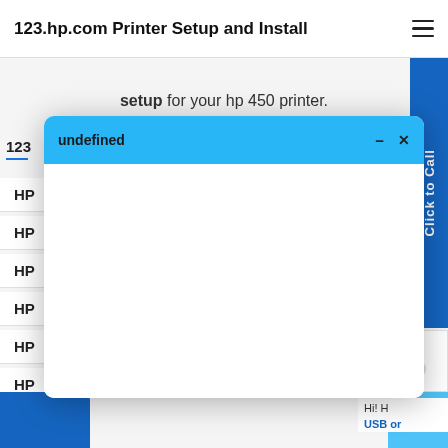123.hp.com Printer Setup and Install
setup for your hp 450 printer.
123
HP
HP
HP
HP
HP
HP
HP
[Figure (screenshot): Modal dialog popup with blue header titled 'undefined' with minimize and close buttons, white body content area]
[Figure (screenshot): Blue 'Click to Call' vertical sidebar button on right edge]
Hi! H
help s
USB or